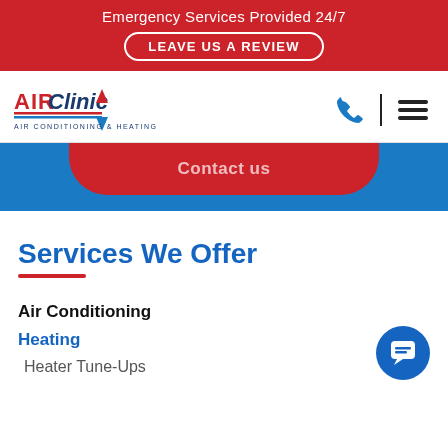Emergency Services Provided 24/7
LEAVE US A REVIEW
[Figure (logo): Air Clinic Air Conditioning & Heating Inc. logo with phone and hamburger menu icons]
[Figure (screenshot): Partial view of a red button on a blue rounded card background]
Services We Offer
Air Conditioning
Heating
Heater Tune-Ups